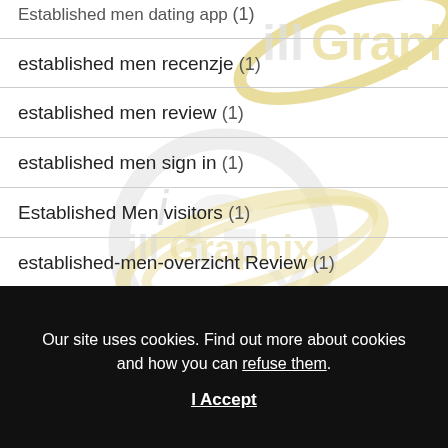Established men dating app (1)
established men recenzje (1)
established men review (1)
established men sign in (1)
Established Men visitors (1)
established-men-overzicht Review (1)
ethiopia personals como funciona (1)
[Figure (logo): illGraphix watermark logo repeated multiple times across the page background — silver and gold stylized 'iGx' lettering]
Our site uses cookies. Find out more about cookies and how you can refuse them.
I Accept